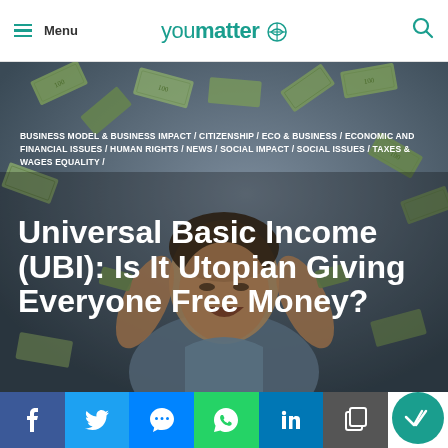youmatter
[Figure (photo): A smiling young man with arms raised, surrounded by falling US dollar bills against a grey background]
BUSINESS MODEL & BUSINESS IMPACT / CITIZENSHIP / ECO & BUSINESS / ECONOMIC AND FINANCIAL ISSUES / HUMAN RIGHTS / NEWS / SOCIAL IMPACT / SOCIAL ISSUES / TAXES & WAGES EQUALITY /
Universal Basic Income (UBI): Is It Utopian Giving Everyone Free Money?
f  twitter  messenger  whatsapp  in  copy  checkmark